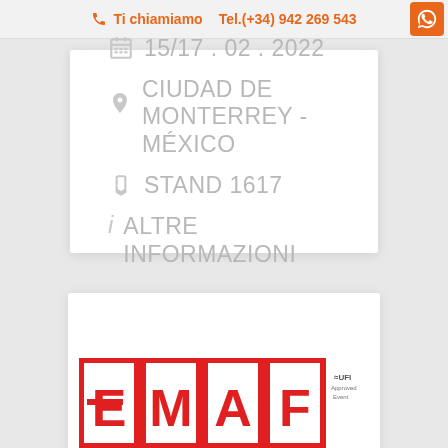Ti chiamiamo  Tel.(+34) 942 269 543
15/17 . 02 . 2022
CIUDAD DE MONTERREY - MÉXICO
STAND 1617
ALTRE INFORMAZIONI
[Figure (logo): EMAF logo with red block letters and UFI Approved Event badge]